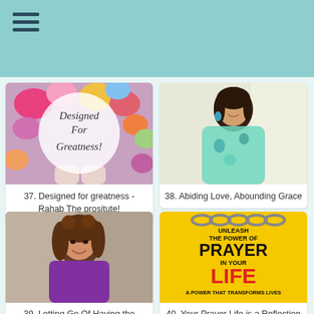≡
35. "Is your hope in truth or lies?"
36. "Bittersweet Recipes"
[Figure (photo): Colorful flowers background with a circular overlay text reading 'Designed For Greatness!']
37. Designed for greatness - Rahab The prositute!
[Figure (photo): Woman with dark hair smiling, wearing a teal/green floral blouse]
38. Abiding Love, Abounding Grace
[Figure (photo): Young woman with brown curly hair smiling, wearing a purple top]
39. Letting Go Of Having the Perfect Christmas
[Figure (photo): Book cover: 'Unleash the Power of Prayer in Your Life - A Power That Transforms Lives' with chain links and bold red/black text on yellow background]
40. Your Prayer Life is a Reflection - Linkup